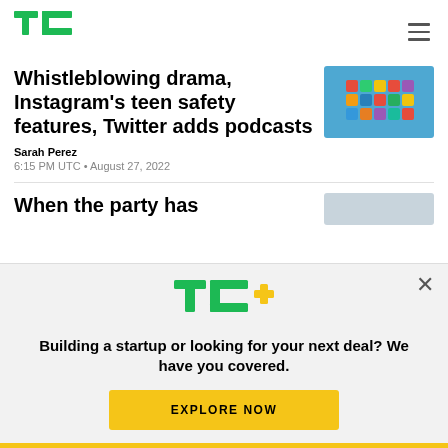[Figure (logo): TechCrunch TC logo in green]
Whistleblowing drama, Instagram's teen safety features, Twitter adds podcasts
Sarah Perez
6:15 PM UTC • August 27, 2022
[Figure (photo): Colorful tiles on blue background thumbnail]
When the party has
[Figure (screenshot): Gray rectangle thumbnail placeholder]
[Figure (logo): TC+ logo with green TC and yellow plus sign]
Building a startup or looking for your next deal? We have you covered.
EXPLORE NOW